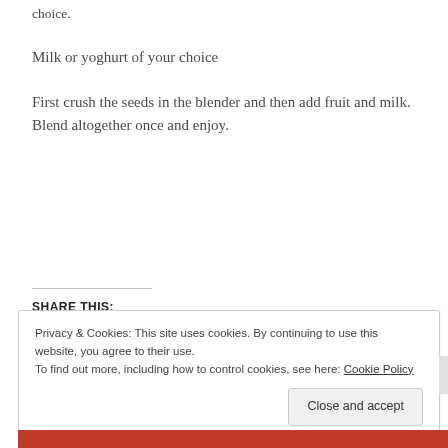choice.
Milk or yoghurt of your choice
First crush the seeds in the blender and then add fruit and milk. Blend altogether once and enjoy.
SHARE THIS:
Privacy & Cookies: This site uses cookies. By continuing to use this website, you agree to their use.
To find out more, including how to control cookies, see here: Cookie Policy